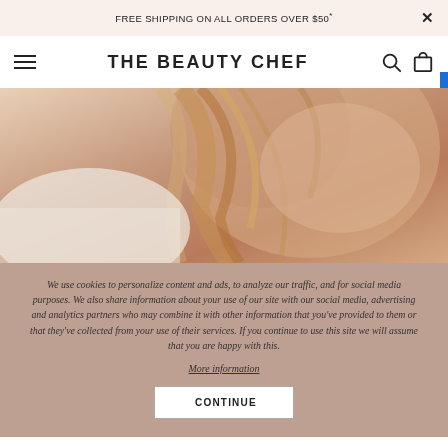FREE SHIPPING ON ALL ORDERS OVER $50*
THE BEAUTY CHEF
[Figure (photo): Close-up photo of a woman's face and hair, warm tones, soft focus]
We use cookies to personalize content and ads, to analyze our traffic, and for social media purposes. We also share information about your use of our site with our social media, advertising and analytics partners who may combine it with other information that you've provided to them or that they've collected from your use of their services. If you continue to use this site we will assume that you are happy with this.
More information
CONTINUE